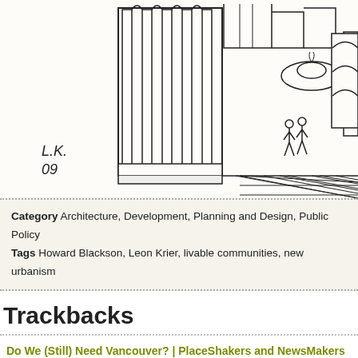[Figure (illustration): Hand-drawn architectural sketch of a classical plaza with arched colonnades, buildings, a fountain, tiled paving, and two human figures. Signed 'L.K. 09'.]
Category Architecture, Development, Planning and Design, Public Policy
Tags Howard Blackson, Leon Krier, livable communities, new urbanism
Trackbacks
Do We (Still) Need Vancouver? | PlaceShakers and NewsMakers says:
November 25, 2011 at 12:04 pm
[…] future (though he visited San Diego in 2009 and surprised me with an a